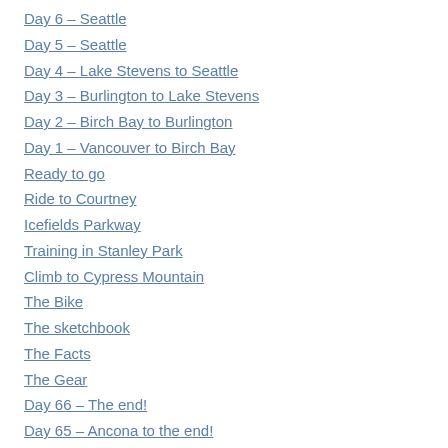Day 6 – Seattle
Day 5 – Seattle
Day 4 – Lake Stevens to Seattle
Day 3 – Burlington to Lake Stevens
Day 2 – Birch Bay to Burlington
Day 1 – Vancouver to Birch Bay
Ready to go
Ride to Courtney
Icefields Parkway
Training in Stanley Park
Climb to Cypress Mountain
The Bike
The sketchbook
The Facts
The Gear
Day 66 – The end!
Day 65 – Ancona to the end!
Day 64 – Rimini to Ancona
Day 63 – Ravenna to Rimini